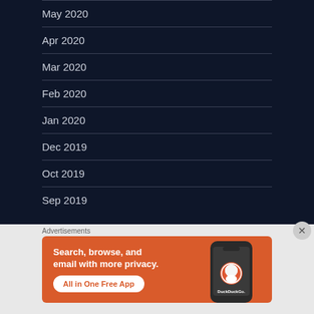May 2020
Apr 2020
Mar 2020
Feb 2020
Jan 2020
Dec 2019
Oct 2019
Sep 2019
Advertisements
[Figure (screenshot): DuckDuckGo advertisement banner: orange background with text 'Search, browse, and email with more privacy. All in One Free App' alongside a phone showing the DuckDuckGo app logo and name.]